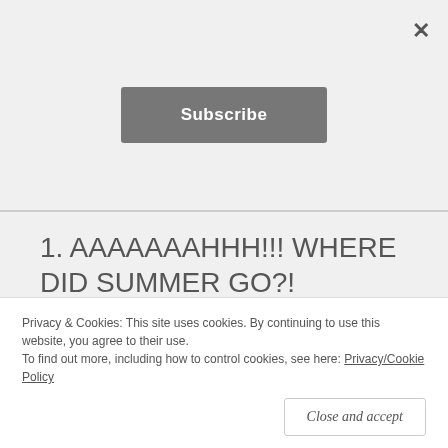[Figure (screenshot): Subscribe button (dark grey rounded rectangle with white bold text 'Subscribe') centered in a light grey area, with a close X button in the top-right corner.]
1. AAAAAAAHHH!!! WHERE DID SUMMER GO?!
2. Did we make the most of every magical moment? Were any moments actually magical? Were too many of them magical? Did I
3. When did so many kids develop allergies to
Privacy & Cookies: This site uses cookies. By continuing to use this website, you agree to their use. To find out more, including how to control cookies, see here: Privacy/Cookie Policy
Close and accept